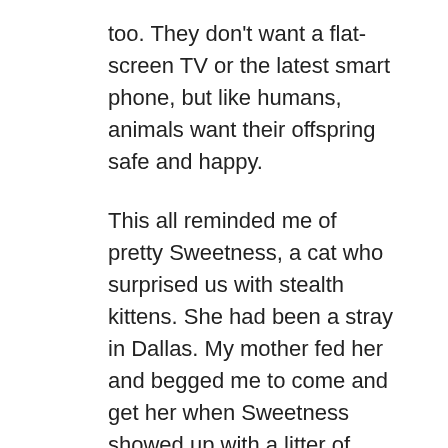too. They don't want a flat-screen TV or the latest smart phone, but like humans, animals want their offspring safe and happy.
This all reminded me of pretty Sweetness, a cat who surprised us with stealth kittens. She had been a stray in Dallas. My mother fed her and begged me to come and get her when Sweetness showed up with a litter of kittens. So we drove four hours one way in a poorly air conditioned truck in the Texas summer and fetched Sweetness and her kittens (well, four were hers – mom, in her zeal, grabbed a completely unrelated kitten who was at least four weeks younger than Sweetness' other kittens). Sweetness's kittens went to the Austin Humane Society and found a home, but since Sweetness herself failed to thrive there...